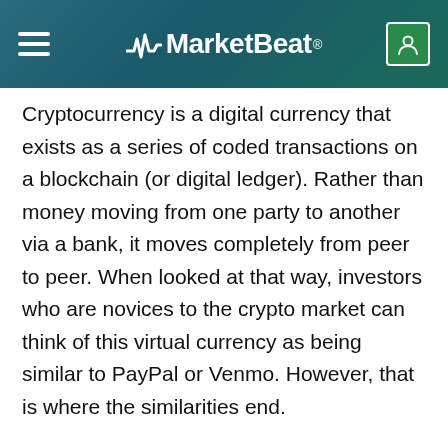MarketBeat
Cryptocurrency is a digital currency that exists as a series of coded transactions on a blockchain (or digital ledger). Rather than money moving from one party to another via a bank, it moves completely from peer to peer. When looked at that way, investors who are novices to the crypto market can think of this virtual currency as being similar to PayPal or Venmo. However, that is where the similarities end.
For any digital currency to work there has to be a payment network to record accounts, balances, and transactions. With standard currencies (also called fiat currencies), a bank or government entity issues the currency and maintains a ledger of transactions. Since PayPal or Venmo transactions are made using U.S.